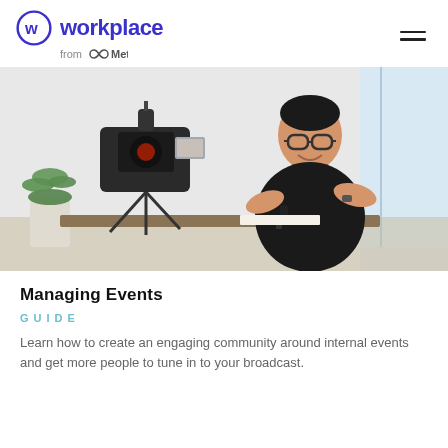workplace from Meta
[Figure (photo): A smiling young man with glasses and a dark t-shirt sits in front of a DSLR camera on a tripod, gesturing with his hands. A small microphone on a mini tripod is visible on the table. There is a plant and a bright window in the background.]
Managing Events
GUIDE
Learn how to create an engaging community around internal events and get more people to tune in to your broadcast.